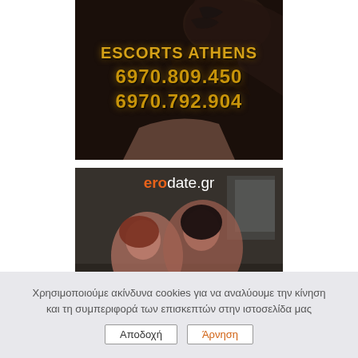[Figure (photo): Advertisement banner for Escorts Athens with gold text showing phone numbers 6970.809.450 and 6970.792.904 overlaid on a dark photo of a person]
[Figure (photo): Advertisement banner for erodate.gr showing the website logo in orange and white text on a dark photo background]
Χρησιμοποιούμε ακίνδυνα cookies για να αναλύουμε την κίνηση και τη συμπεριφορά των επισκεπτών στην ιστοσελίδα μας
Αποδοχή  Άρνηση